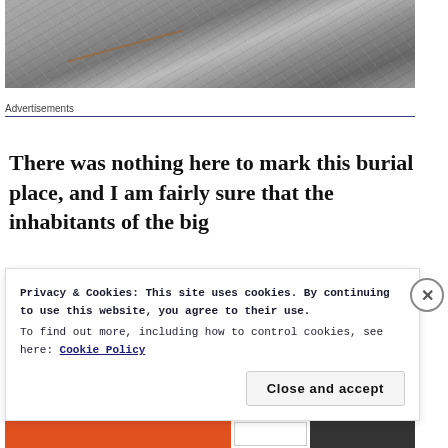[Figure (photo): Close-up photograph of a rocky or stone surface, gray tones with a diagonal crack and textured terrain.]
Advertisements
There was nothing here to mark this burial place, and I am fairly sure that the inhabitants of the big
Privacy & Cookies: This site uses cookies. By continuing to use this website, you agree to their use.
To find out more, including how to control cookies, see here: Cookie Policy
Close and accept
[Figure (other): Advertisement banner strip at the bottom of the page with orange and dark colored sections.]